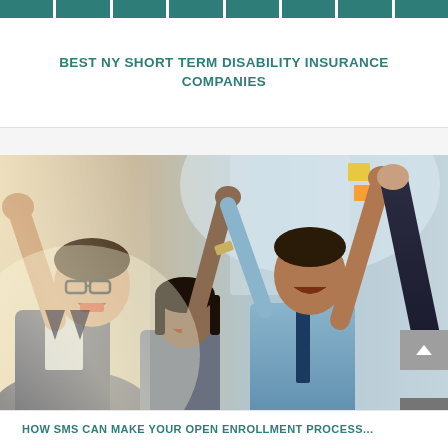BEST NY SHORT TERM DISABILITY INSURANCE COMPANIES
[Figure (photo): Group of business professionals doing a high-five celebration in an office setting. Multiple people raising hands together in a team celebration gesture.]
HOW SMS CAN MAKE YOUR OPEN ENROLLMENT PROCESS...